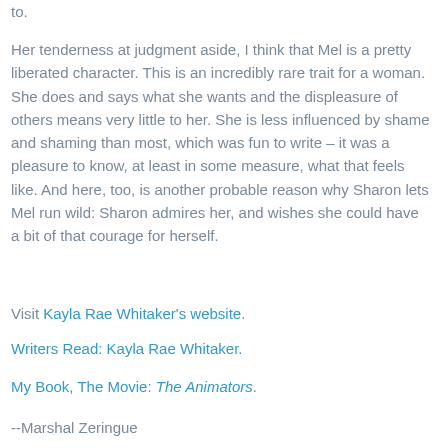to.
Her tenderness at judgment aside, I think that Mel is a pretty liberated character. This is an incredibly rare trait for a woman. She does and says what she wants and the displeasure of others means very little to her. She is less influenced by shame and shaming than most, which was fun to write – it was a pleasure to know, at least in some measure, what that feels like. And here, too, is another probable reason why Sharon lets Mel run wild: Sharon admires her, and wishes she could have a bit of that courage for herself.
Visit Kayla Rae Whitaker's website.
Writers Read: Kayla Rae Whitaker.
My Book, The Movie: The Animators.
--Marshal Zeringue